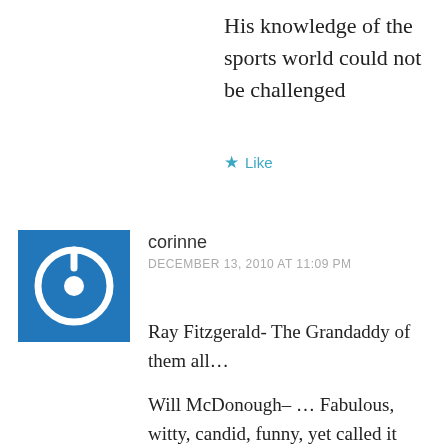His knowledge of the sports world could not be challenged
★ Like
corinne
DECEMBER 13, 2010 AT 11:09 PM
Ray Fitzgerald- The Grandaddy of them all…

Will McDonough– … Fabulous, witty, candid, funny, yet called it VERY much like is was….I miss this guy!

Peter Gammons– WOW!! Baseball could not, would not be the same w/o PG!…